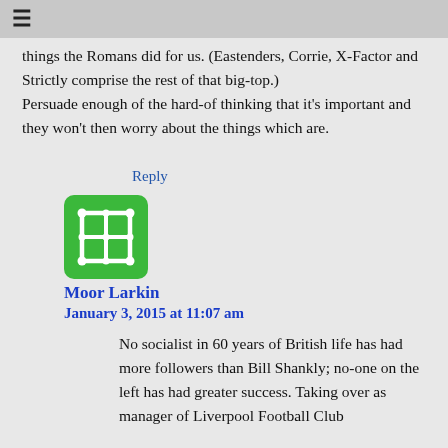things the Romans did for us. (Eastenders, Corrie, X-Factor and Strictly comprise the rest of that big-top.) Persuade enough of the hard-of thinking that it's important and they won't then worry about the things which are.
Reply
[Figure (illustration): Green rounded square avatar icon with a white grid/table symbol in the center]
Moor Larkin
January 3, 2015 at 11:07 am
No socialist in 60 years of British life has had more followers than Bill Shankly; no-one on the left has had greater success. Taking over as manager of Liverpool Football Club